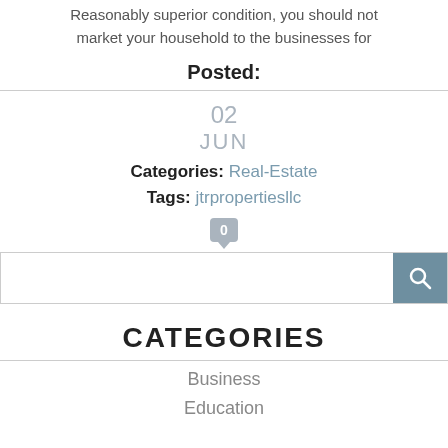Reasonably superior condition, you should not market your household to the businesses for
Posted:
02 JUN
Categories: Real-Estate
Tags: jtrpropertiesllc
0
CATEGORIES
Business
Education